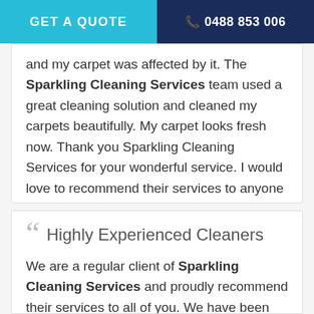GET A QUOTE   📞 0488 853 006
and my carpet was affected by it. The Sparkling Cleaning Services team used a great cleaning solution and cleaned my carpets beautifully. My carpet looks fresh now. Thank you Sparkling Cleaning Services for your wonderful service. I would love to recommend their services to anyone looking for excellent carpet cleaning service provider in Brisbane.
Highly Experienced Cleaners
We are a regular client of Sparkling Cleaning Services and proudly recommend their services to all of you. We have been using their services for many years now. Sparkling Cleaning Services hav...